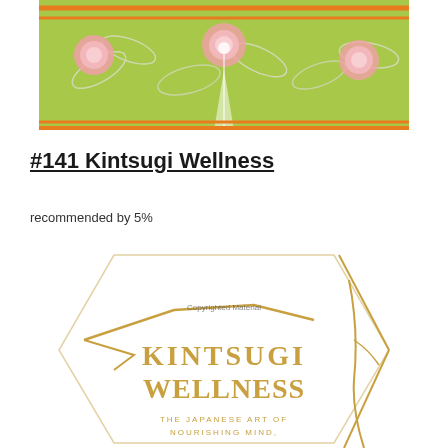[Figure (illustration): Decorative banner image with green floral background featuring pink peonies, white flowers and leaves, with orange horizontal lines and a figure in white]
#141 Kintsugi Wellness
recommended by 5%
[Figure (illustration): Book cover of Kintsugi Wellness showing golden branch/crack design on white hexagonal background with text 'KINTSUGI WELLNESS THE JAPANESE ART OF NOURISHING MIND,' and 'Copyrighted Material' watermark]